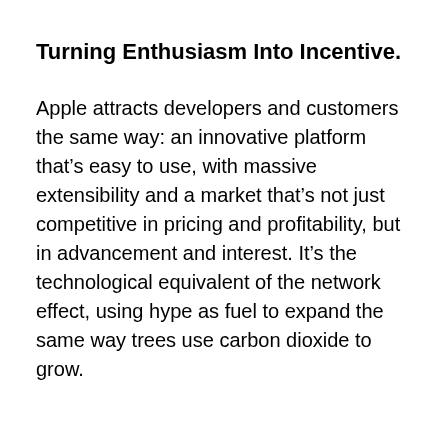Turning Enthusiasm Into Incentive.
Apple attracts developers and customers the same way: an innovative platform that’s easy to use, with massive extensibility and a market that’s not just competitive in pricing and profitability, but in advancement and interest. It’s the technological equivalent of the network effect, using hype as fuel to expand the same way trees use carbon dioxide to grow.